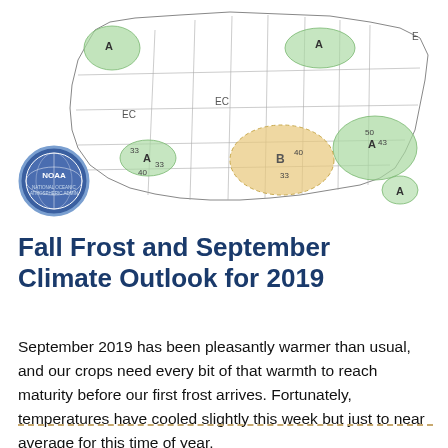[Figure (map): NOAA US climate outlook map showing fall frost probability regions. Green shaded areas indicate above-normal frost probability (labeled A) across Pacific Northwest, Southeast, and mid-Atlantic regions. Orange/tan shaded oval area in south-central US labeled B indicates below-normal frost probability. Areas labeled EC (Equal Chances) cover Great Plains and interior West. Numbers like 33, 40, 43, 50 appear near probability regions.]
Fall Frost and September Climate Outlook for 2019
September 2019 has been pleasantly warmer than usual, and our crops need every bit of that warmth to reach maturity before our first frost arrives. Fortunately, temperatures have cooled slightly this week but just to near average for this time of year.